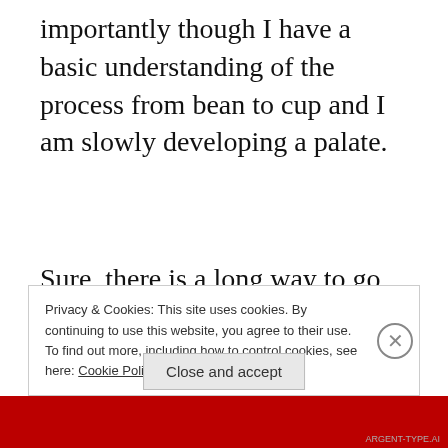importantly though I have a basic understanding of the process from bean to cup and I am slowly developing a palate.
Sure, there is a long way to go, loads more to learn, courses to take, people to speak to and books to read. I feel that in understanding the process and appreciating how it works when the time is right I
Privacy & Cookies: This site uses cookies. By continuing to use this website, you agree to their use.
To find out more, including how to control cookies, see here: Cookie Policy
Close and accept